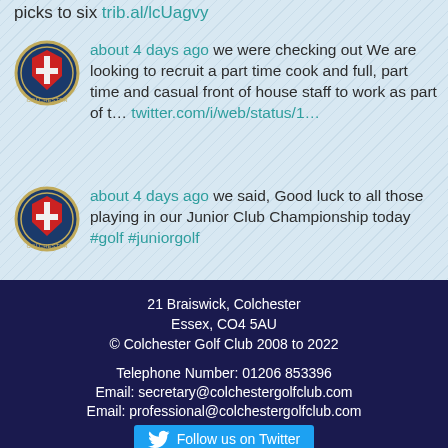picks to six trib.al/lcUagvy
about 4 days ago we were checking out We are looking to recruit a part time cook and full, part time and casual front of house staff to work as part of t… twitter.com/i/web/status/1…
about 4 days ago we said, Good luck to all those playing in our Junior Club Championship today #golf #juniorgolf
21 Braiswick, Colchester
Essex, CO4 5AU
© Colchester Golf Club 2008 to 2022
Telephone Number: 01206 853396
Email: secretary@colchestergolfclub.com
Email: professional@colchestergolfclub.com
Follow us on Twitter